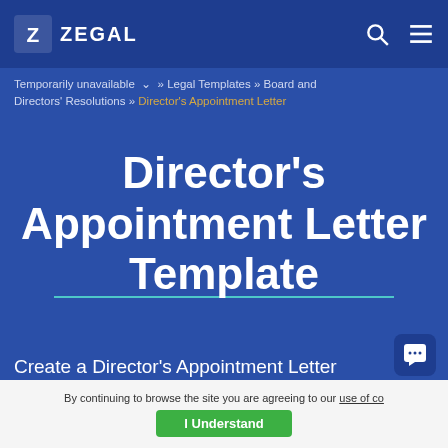ZEGAL
Temporarily unavailable » Legal Templates » Board and Directors' Resolutions » Director's Appointment Letter
Director's Appointment Letter Template
Create a Director's Appointment Letter in less than 5 minutes with Zegal's document builder
By continuing to browse the site you are agreeing to our use of co... I Understand